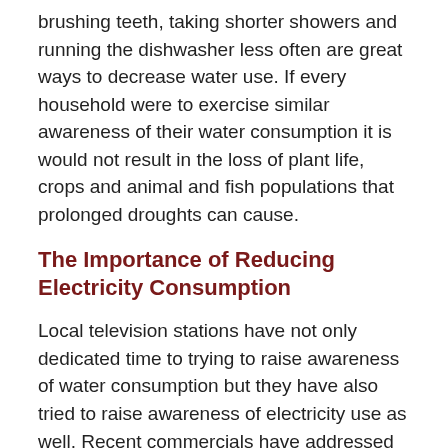brushing teeth, taking shorter showers and running the dishwasher less often are great ways to decrease water use. If every household were to exercise similar awareness of their water consumption it is would not result in the loss of plant life, crops and animal and fish populations that prolonged droughts can cause.
The Importance of Reducing Electricity Consumption
Local television stations have not only dedicated time to trying to raise awareness of water consumption but they have also tried to raise awareness of electricity use as well. Recent commercials have addressed the point of unplugging items within the house when they are not in use as well as turning off lights when a room is not in use. While electricity use does not carry the same impact on the natural environment as over consumption of water does, over use of electricity still damages our